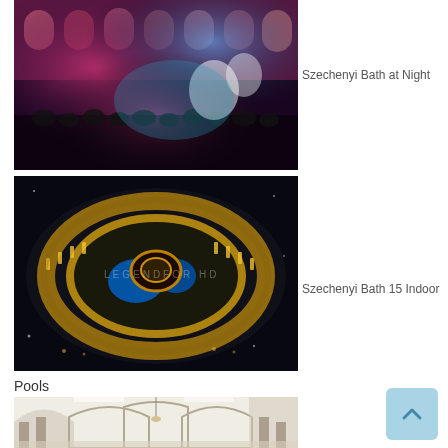[Figure (photo): Szechenyi Bath at Night - nighttime outdoor event with colorful lighting, crowds of people, pink and blue lights illuminating a grand building facade and courtyard]
Szechenyi Bath at Night
[Figure (photo): Szechenyi Bath 15 Indoor - aerial night view of the illuminated Szechenyi Bath complex with glowing yellow-gold building outline and blue swimming pools visible from above, dark surroundings]
Szechenyi Bath 15 Indoor
Pools
[Figure (photo): Indoor pool area with white arched ceilings, classical columns, and grand architectural interior of the Szechenyi Bath]